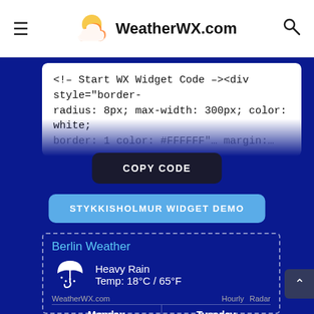WeatherWX.com
<!-- Start WX Widget Code --><div style="border-radius: 8px; max-width: 300px; color: white; border: 1 color: #FFFFFF" margin: ...
COPY CODE
STYKKISHOLMUR WIDGET DEMO
[Figure (screenshot): Berlin Weather widget demo showing Heavy Rain, Temp: 18°C / 65°F, WeatherWX.com attribution, Monday Heavy Rain Hi: 21°C / Lo: 17°C, Tuesday Patchy Rain Possible Hi: 29°C / Lo: 15°C]